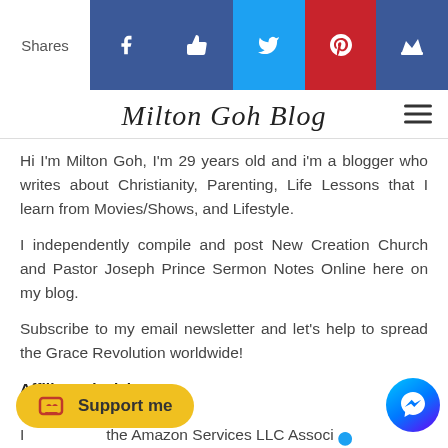[Figure (screenshot): Social sharing bar with Shares label and icons for Facebook, Like/Thumbs up, Twitter, Pinterest, and Crown]
Milton Goh Blog
Hi I'm Milton Goh, I'm 29 years old and i'm a blogger who writes about Christianity, Parenting, Life Lessons that I learn from Movies/Shows, and Lifestyle.
I independently compile and post New Creation Church and Pastor Joseph Prince Sermon Notes Online here on my blog.
Subscribe to my email newsletter and let's help to spread the Grace Revolution worldwide!
Affiliate Disclaimer:
I... the Amazon Services LLC Associates... rtising program designed to pro... a means for me to earn fees by linking to Amazon.com and
[Figure (other): Support me button (yellow pill-shaped) with Ko-fi cup icon]
[Figure (other): Facebook Messenger chat bubble button]